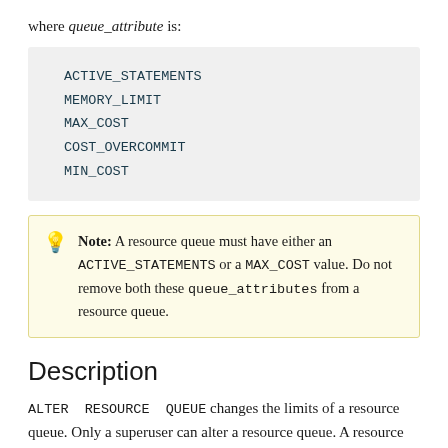where queue_attribute is:
ACTIVE_STATEMENTS
MEMORY_LIMIT
MAX_COST
COST_OVERCOMMIT
MIN_COST
Note: A resource queue must have either an ACTIVE_STATEMENTS or a MAX_COST value. Do not remove both these queue_attributes from a resource queue.
Description
ALTER RESOURCE QUEUE changes the limits of a resource queue. Only a superuser can alter a resource queue. A resource queue must have either an